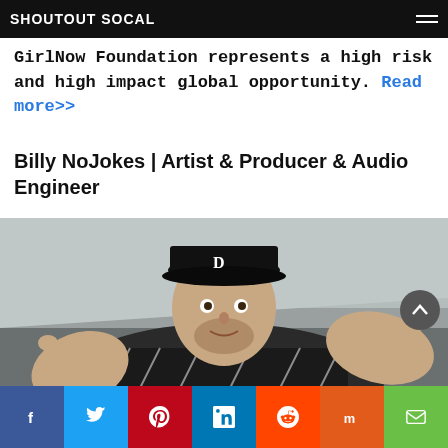SHOUTOUT SOCAL
GirlNow Foundation represents a high risk and high impact global opportunity. Read more>>
Billy NoJokes | Artist & Producer & Audio Engineer
[Figure (photo): Man wearing a black San Diego Padres cap and a plaid flannel shirt, leaning toward camera with both thumbs up, photographed from a low angle.]
Social share buttons: Facebook, Twitter, Pinterest, LinkedIn, Reddit, Mix, Email